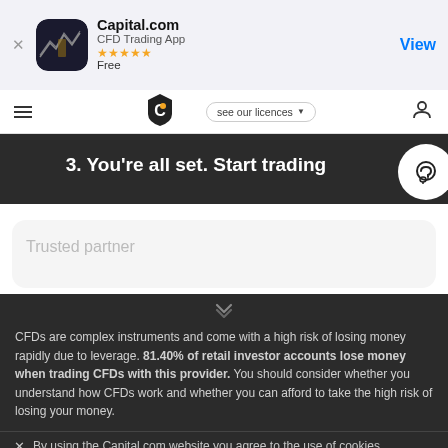[Figure (screenshot): App store banner for Capital.com CFD Trading App with app icon, 5-star rating, and View button]
[Figure (screenshot): Navigation bar with hamburger menu, Capital.com shield logo, see our licences dropdown, and person icon]
3. You're all set. Start trading
Trusted partner
CFDs are complex instruments and come with a high risk of losing money rapidly due to leverage. 81.40% of retail investor accounts lose money when trading CFDs with this provider. You should consider whether you understand how CFDs work and whether you can afford to take the high risk of losing your money.
By using the Capital.com website you agree to the use of cookies.